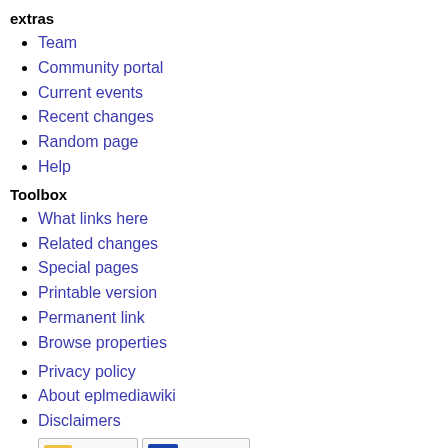extras
Team
Community portal
Current events
Recent changes
Random page
Help
Toolbox
What links here
Related changes
Special pages
Printable version
Permanent link
Browse properties
Privacy policy
About eplmediawiki
Disclaimers
[Figure (logo): Powered by MediaWiki badge and Powered by Semantic MediaWiki badge]